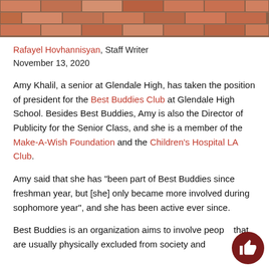[Figure (photo): Brick wall pattern image at the top of the page]
Rafayel Hovhannisyan, Staff Writer
November 13, 2020
Amy Khalil, a senior at Glendale High, has taken the position of president for the Best Buddies Club at Glendale High School. Besides Best Buddies, Amy is also the Director of Publicity for the Senior Class, and she is a member of the Make-A-Wish Foundation and the Children's Hospital LA Club.
Amy said that she has “been part of Best Buddies since freshman year, but [she] only became more involved during sophomore year”, and she has been active ever since.
Best Buddies is an organization aims to involve people that are usually physically excluded from society and…